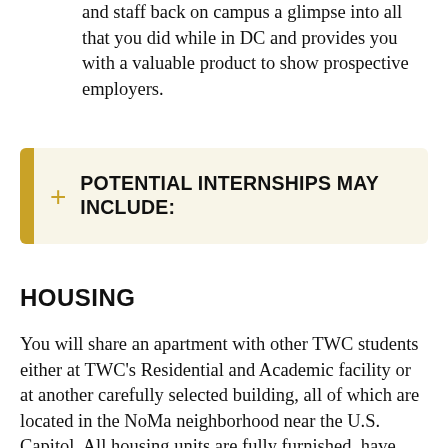and staff back on campus a glimpse into all that you did while in DC and provides you with a valuable product to show prospective employers.
POTENTIAL INTERNSHIPS MAY INCLUDE:
HOUSING
You will share an apartment with other TWC students either at TWC's Residential and Academic facility or at another carefully selected building, all of which are located in the NoMa neighborhood near the U.S. Capitol. All housing units are fully furnished, have A/C, fully equipped kitchens, laundry facilities, phone and basic cable service,